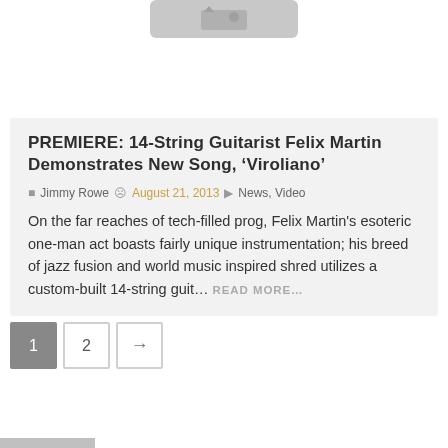[Figure (photo): Partially visible image placeholder at top of page]
PREMIERE: 14-String Guitarist Felix Martin Demonstrates New Song, ‘Viroliano’
• Jimmy Rowe © August 21, 2013 • News, Video
On the far reaches of tech-filled prog, Felix Martin's esoteric one-man act boasts fairly unique instrumentation; his breed of jazz fusion and world music inspired shred utilizes a custom-built 14-string guit… READ MORE…
Pagination: 1, 2, →